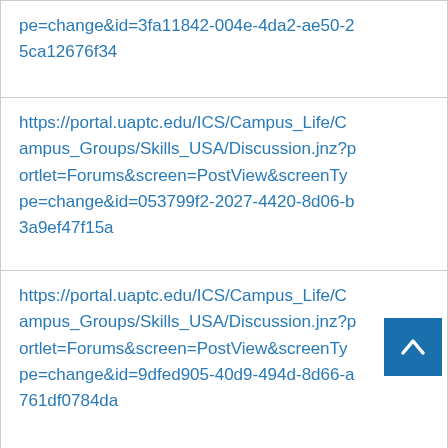| pe=change&id=3fa11842-004e-4da2-ae50-25ca12676f34 |
| https://portal.uaptc.edu/ICS/Campus_Life/Campus_Groups/Skills_USA/Discussion.jnz?portlet=Forums&screen=PostView&screenType=change&id=053799f2-2027-4420-8d06-b3a9ef47f15a |
| https://portal.uaptc.edu/ICS/Campus_Life/Campus_Groups/Skills_USA/Discussion.jnz?portlet=Forums&screen=PostView&screenType=change&id=9dfed905-40d9-494d-8d66-a761df0784da |
| https://portal.uaptc.edu/ICS/Campus_Life/C |